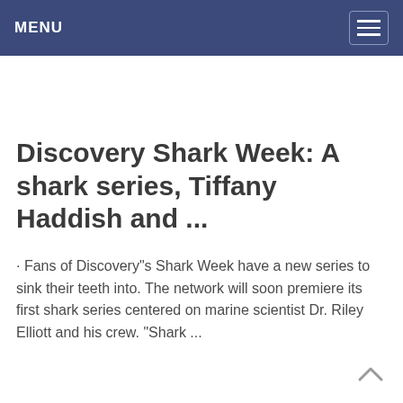MENU
Discovery Shark Week: A shark series, Tiffany Haddish and ...
· Fans of Discovery"s Shark Week have a new series to sink their teeth into. The network will soon premiere its first shark series centered on marine scientist Dr. Riley Elliott and his crew. "Shark ...